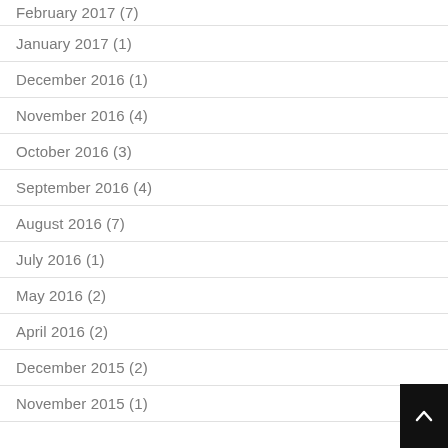February 2017 (7)
January 2017 (1)
December 2016 (1)
November 2016 (4)
October 2016 (3)
September 2016 (4)
August 2016 (7)
July 2016 (1)
May 2016 (2)
April 2016 (2)
December 2015 (2)
November 2015 (1)